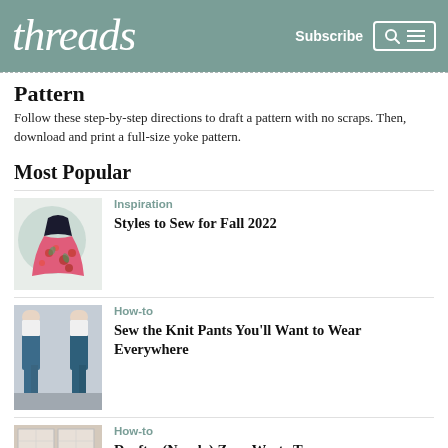threads | Subscribe
Pattern
Follow these step-by-step directions to draft a pattern with no scraps. Then, download and print a full-size yoke pattern.
Most Popular
[Figure (illustration): Illustration of a woman in a pink floral ballgown dress]
Inspiration
Styles to Sew for Fall 2022
[Figure (photo): Photo of two women wearing blue knit pants and white tops]
How-to
Sew the Knit Pants You'll Want to Wear Everywhere
[Figure (photo): Photo of pattern pieces/fabric swatches]
How-to
Draft a (Nearly) Zero-Waste Top